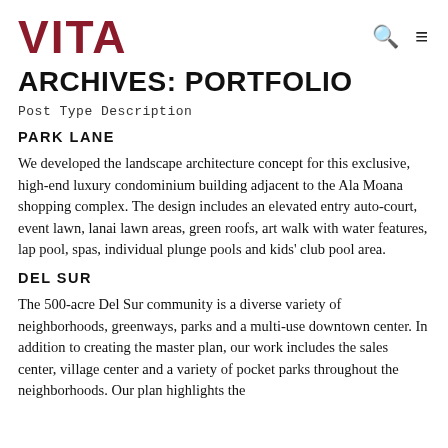VITA
ARCHIVES: PORTFOLIO
Post Type Description
PARK LANE
We developed the landscape architecture concept for this exclusive, high-end luxury condominium building adjacent to the Ala Moana shopping complex. The design includes an elevated entry auto-court, event lawn, lanai lawn areas, green roofs, art walk with water features, lap pool, spas, individual plunge pools and kids' club pool area.
DEL SUR
The 500-acre Del Sur community is a diverse variety of neighborhoods, greenways, parks and a multi-use downtown center. In addition to creating the master plan, our work includes the sales center, village center and a variety of pocket parks throughout the neighborhoods. Our plan highlights the